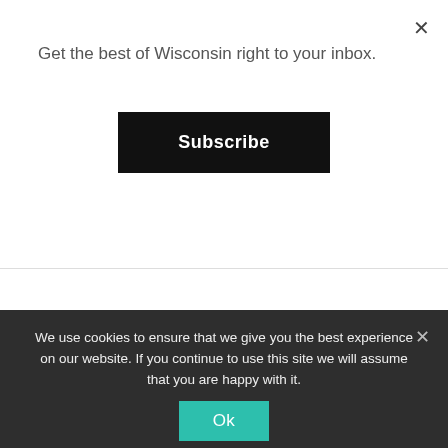Get the best of Wisconsin right to your inbox.
Subscribe
We use cookies to ensure that we give you the best experience on our website. If you continue to use this site we will assume that you are happy with it.
Ok
RECENT POSTS